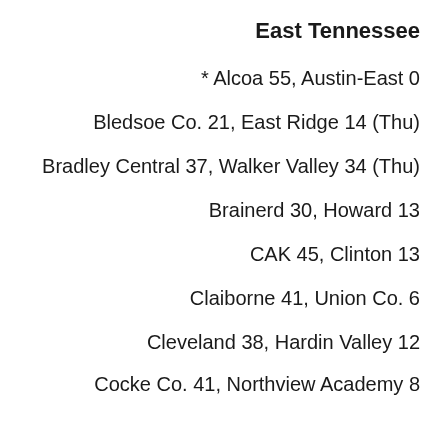East Tennessee
* Alcoa 55, Austin-East 0
Bledsoe Co. 21, East Ridge 14 (Thu)
Bradley Central 37, Walker Valley 34 (Thu)
Brainerd 30, Howard 13
CAK 45, Clinton 13
Claiborne 41, Union Co. 6
Cleveland 38, Hardin Valley 12
Cocke Co. 41, Northview Academy 8